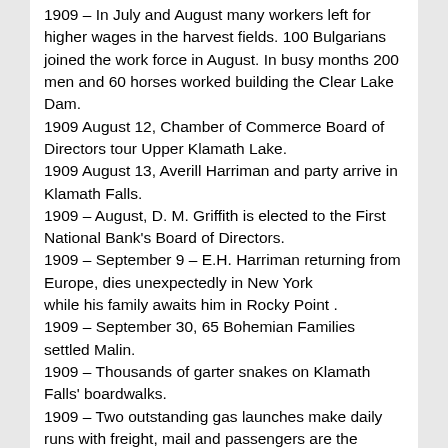1909 – In July and August many workers left for higher wages in the harvest fields. 100 Bulgarians joined the work force in August. In busy months 200 men and 60 horses worked building the Clear Lake Dam.
1909 August 12, Chamber of Commerce Board of Directors tour Upper Klamath Lake.
1909 August 13, Averill Harriman and party arrive in Klamath Falls.
1909 – August, D. M. Griffith is elected to the First National Bank's Board of Directors.
1909 – September 9 – E.H. Harriman returning from Europe, dies unexpectedly in New York while his family awaits him in Rocky Point .
1909 – September 30, 65 Bohemian Families settled Malin.
1909 – Thousands of garter snakes on Klamath Falls' boardwalks.
1909 – Two outstanding gas launches make daily runs with freight, mail and passengers are the Curlew and Spray operated by Calkins and Hamilton.
1909 – October, the newly formed Pioneer Association announced president O.A. Stearns, vice-president O.C. Applegate and secretary Emma Cogswell.
1909 – October 1, C.D. Willson, of Klamath Falls, applies for a special use permit for a hotel at Rocky Point. He